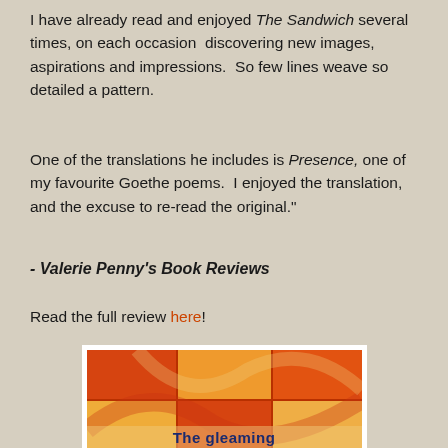I have already read and enjoyed The Sandwich several times, on each occasion discovering new images, aspirations and impressions. So few lines weave so detailed a pattern.
One of the translations he includes is Presence, one of my favourite Goethe poems. I enjoyed the translation, and the excuse to re-read the original."
- Valerie Penny's Book Reviews
Read the full review here!
[Figure (illustration): Book cover of 'The gleaming' showing an abstract warm orange and red patchwork or quilted pattern with the title text at the bottom in dark blue.]